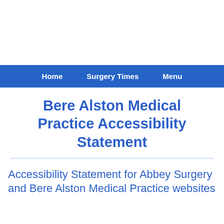Home    Surgery Times    Menu
Bere Alston Medical Practice Accessibility Statement
Accessibility Statement for Abbey Surgery and Bere Alston Medical Practice websites